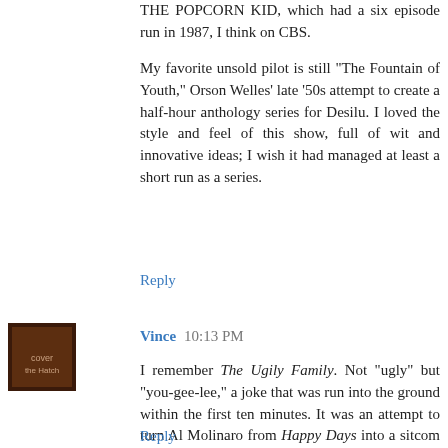THE POPCORN KID, which had a six episode run in 1987, I think on CBS.
My favorite unsold pilot is still "The Fountain of Youth," Orson Welles' late '50s attempt to create a half-hour anthology series for Desilu. I loved the style and feel of this show, full of wit and innovative ideas; I wish it had managed at least a short run as a series.
Reply
Vince 10:13 PM
I remember The Ugily Family. Not "ugly" but "you-gee-lee," a joke that was run into the ground within the first ten minutes. It was an attempt to turn Al Molinaro from Happy Days into a sitcom lead. He moves his New Jersey family to California and ... that was pretty much the set-up. If I recall correctly, Doris Roberts and Lyle Waggoner were also in the cast, but I could be wrong. I tried to block a lot of that show out.
Reply